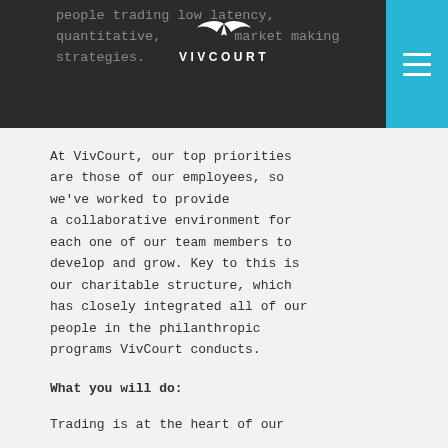people trading low latency, quantitative, and market making strategies.
At VivCourt, our top priorities are those of our employees, so we've worked to provide a collaborative environment for each one of our team members to develop and grow. Key to this is our charitable structure, which has closely integrated all of our people in the philanthropic programs VivCourt conducts.
What you will do:
Trading is at the heart of our